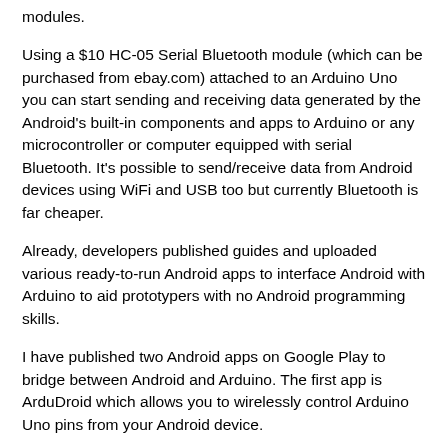modules.
Using a $10 HC-05 Serial Bluetooth module (which can be purchased from ebay.com) attached to an Arduino Uno you can start sending and receiving data generated by the Android's built-in components and apps to Arduino or any microcontroller or computer equipped with serial Bluetooth. It's possible to send/receive data from Android devices using WiFi and USB too but currently Bluetooth is far cheaper.
Already, developers published guides and uploaded various ready-to-run Android apps to interface Android with Arduino to aid prototypers with no Android programming skills.
I have published two Android apps on Google Play to bridge between Android and Arduino. The first app is ArduDroid which allows you to wirelessly control Arduino Uno pins from your Android device.
The other app is SensoDuino which harvests data in real-time from over a dozen Android sensors (the ones which exist on your phone model) and sends this data to your Arduino wirelessly. Android built-in sensors include GPS, Gyro, Accelerometer, Compass, Light, Audio...